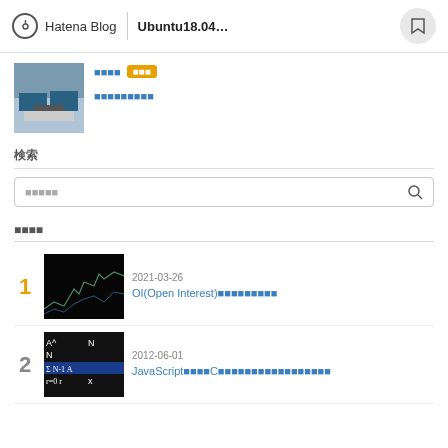Hatena Blog | Ubuntu18.04…
[Figure (photo): Profile photo of a desk setup with multiple monitors]
日本語リンク (blue link text) | ラベル付き
日本語リンク (blue underline link text)
検索
キーワード検索 (search box placeholder)
人気記事
1. 2021-03-26 OI(Open Interest)を使った日本語タイトル
2. 2012-06-01 JavaScriptで速いCを書く日本語テキストタイトル